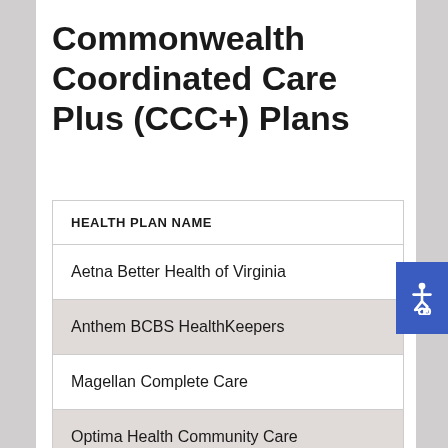Commonwealth Coordinated Care Plus (CCC+) Plans
| HEALTH PLAN NAME |
| --- |
| Aetna Better Health of Virginia |
| Anthem BCBS HealthKeepers |
| Magellan Complete Care |
| Optima Health Community Care |